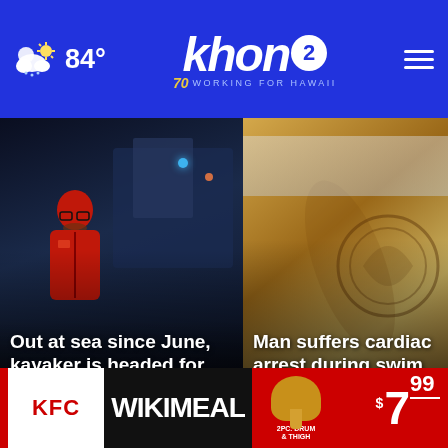khon2 WORKING FOR HAWAII | 84°
[Figure (photo): Man in red jacket near boat at night — news card: Out at sea since June, kayaker is headed for Hawaii]
[Figure (photo): Close-up of a surfboard — news card: Man suffers cardiac arrest during swim race off Waikiki]
[Figure (photo): Whale or marine animal underwater — news card bottom left]
[Figure (photo): Blurred blue lights — news card bottom right]
[Figure (photo): KFC Wikimeal advertisement banner — $7.99, 2pc Drum & Thigh]